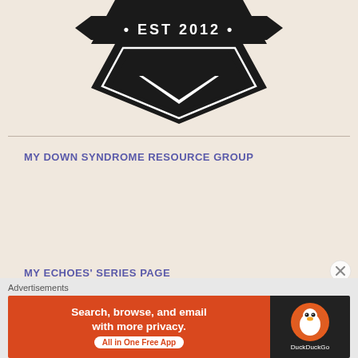[Figure (logo): Black shield/badge logo with banner reading '* EST 2012 *' in white text on black background, with geometric diamond/chevron shapes below]
MY DOWN SYNDROME RESOURCE GROUP
MY ECHOES' SERIES PAGE
Advertisements
[Figure (screenshot): DuckDuckGo advertisement banner: orange/red left section reads 'Search, browse, and email with more privacy. All in One Free App' with white pill button, black right section with DuckDuckGo logo and duck icon]